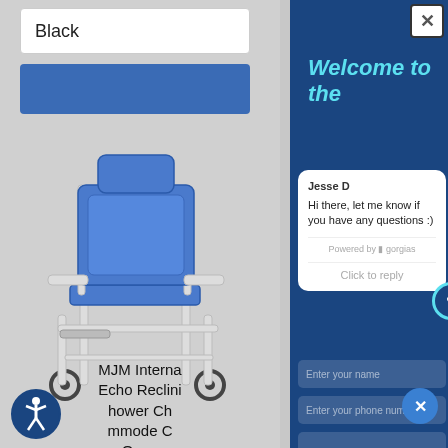Black
[Figure (photo): Blue color swatch rectangle]
[Figure (photo): MJM International Echo Reclining Shower Chair / Commode Chair with open seat - white PVC frame with blue cushioning]
MJM Interna Echo Reclini hower Ch mmode C Open
[Figure (illustration): Accessibility icon - person in circle]
Welcome to the
Jesse D
Hi there, let me know if you have any questions :)
Powered by gorgias
Click to reply
Enter your name
Enter your phone number